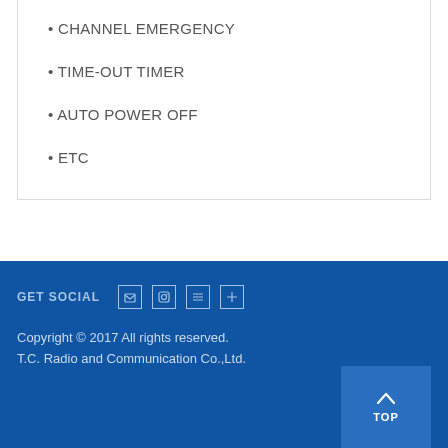• CHANNEL EMERGENCY
• TIME-OUT TIMER
• AUTO POWER OFF
• ETC
GET SOCIAL
Copyright © 2017 All rights reserved.
T.C. Radio and Communication Co.,Ltd.